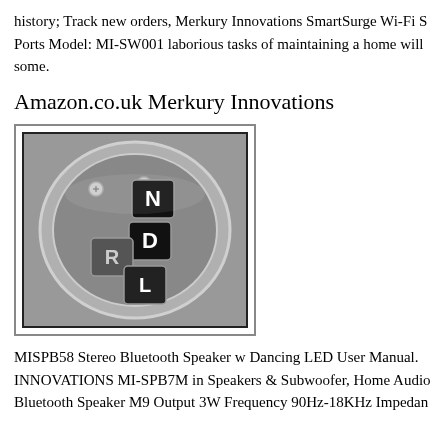history; Track new orders, Merkury Innovations SmartSurge Wi-Fi S Ports Model: MI-SW001 laborious tasks of maintaining a home will some.
Amazon.co.uk Merkury Innovations
[Figure (photo): Black and white photograph of a car gear shift selector showing letters N, D, R, L on chrome/metallic square buttons arranged in a diagonal pattern, mounted in a chrome housing.]
MISPB58 Stereo Bluetooth Speaker w Dancing LED User Manual. INNOVATIONS MI-SPB7M in Speakers & Subwoofer, Home Audio Bluetooth Speaker M9 Output 3W Frequency 90Hz-18KHz Impedan